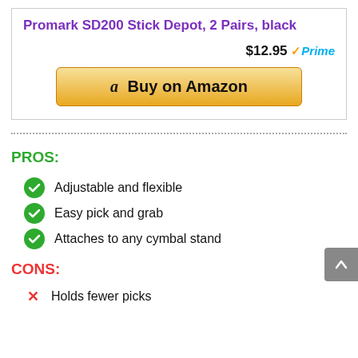Promark SD200 Stick Depot, 2 Pairs, black
$12.95 ✓Prime
[Figure (other): Buy on Amazon button with Amazon logo]
PROS:
Adjustable and flexible
Easy pick and grab
Attaches to any cymbal stand
CONS:
Holds fewer picks